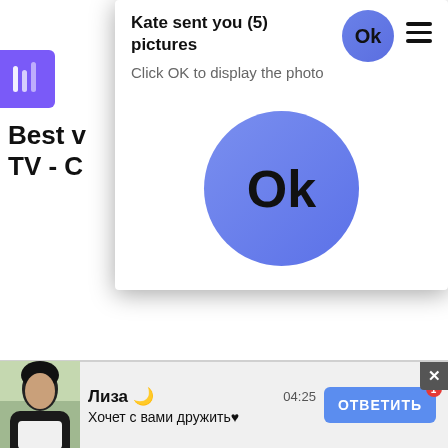Kate sent you (5) pictures
Click OK to display the photo
[Figure (screenshot): Large blue circular OK button in center of modal dialog]
Best v... & TV - C...
[Figure (screenshot): Video ad section showing ALIENWARE NEO gaming handheld advertisement with purple background]
Ads by Clickadilla   Skip in 5 seconds ×
Лиза 🌙
Хочет с вами дружить♥
04:25
ОТВЕТИТЬ